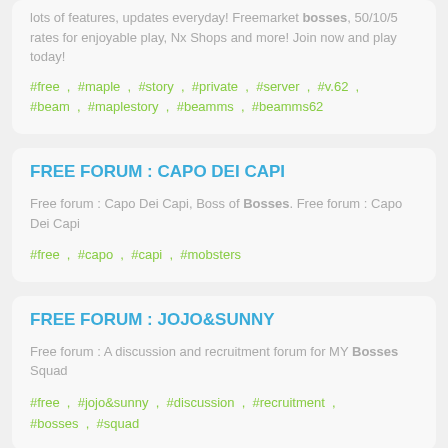lots of features, updates everyday! Freemarket bosses, 50/10/5 rates for enjoyable play, Nx Shops and more! Join now and play today!
#free , #maple , #story , #private , #server , #v.62 , #beam , #maplestory , #beamms , #beamms62
FREE FORUM : CAPO DEI CAPI
Free forum : Capo Dei Capi, Boss of Bosses. Free forum : Capo Dei Capi
#free , #capo , #capi , #mobsters
FREE FORUM : JOJO&SUNNY
Free forum : A discussion and recruitment forum for MY Bosses Squad
#free , #jojo&sunny , #discussion , #recruitment , #bosses , #squad